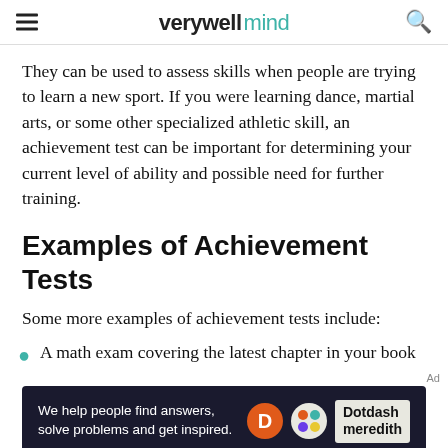verywell mind
They can be used to assess skills when people are trying to learn a new sport. If you were learning dance, martial arts, or some other specialized athletic skill, an achievement test can be important for determining your current level of ability and possible need for further training.
Examples of Achievement Tests
Some more examples of achievement tests include:
A math exam covering the latest chapter in your book
[Figure (other): Dotdash Meredith advertisement banner with text: We help people find answers, solve problems and get inspired.]